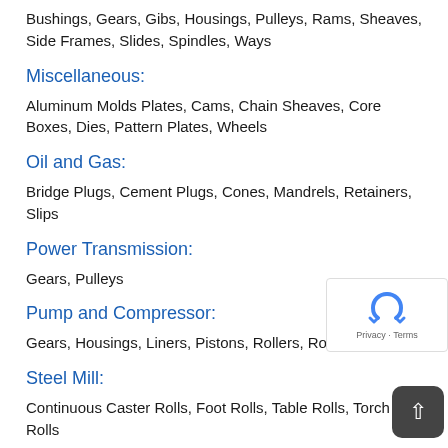Bushings, Gears, Gibs, Housings, Pulleys, Rams, Sheaves, Side Frames, Slides, Spindles, Ways
Miscellaneous:
Aluminum Molds Plates, Cams, Chain Sheaves, Core Boxes, Dies, Pattern Plates, Wheels
Oil and Gas:
Bridge Plugs, Cement Plugs, Cones, Mandrels, Retainers, Slips
Power Transmission:
Gears, Pulleys
Pump and Compressor:
Gears, Housings, Liners, Pistons, Rollers, Rotors, Seals
Steel Mill:
Continuous Caster Rolls, Foot Rolls, Table Rolls, Torch Rolls
Transportation: